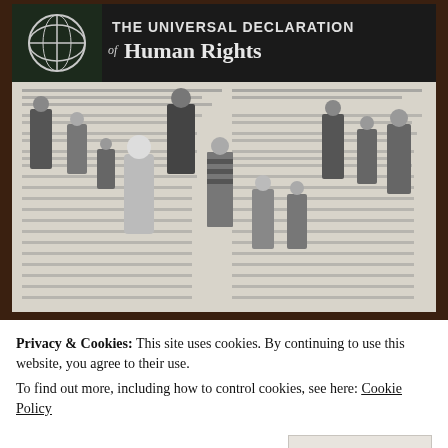[Figure (photo): Black and white photograph of 'The Universal Declaration of Human Rights' poster featuring paper cutout figures of people from different cultures surrounding a document, with the UN logo visible in the upper left]
Information tendered by the “future man” is by no means unique. There are other
Privacy & Cookies: This site uses cookies. By continuing to use this website, you agree to their use.
To find out more, including how to control cookies, see here: Cookie Policy
Close and accept
of form (and according to)